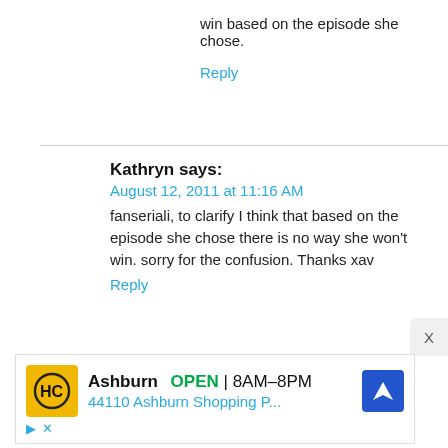win based on the episode she chose.
Reply
Kathryn says:
August 12, 2011 at 11:16 AM
fanseriali, to clarify I think that based on the episode she chose there is no way she won't win. sorry for the confusion. Thanks xav
Reply
[Figure (infographic): Advertisement banner for a business in Ashburn showing HC logo, open hours 8AM-8PM, address 44110 Ashburn Shopping P..., with a navigation arrow icon, and ad controls (play triangle and X icons).]